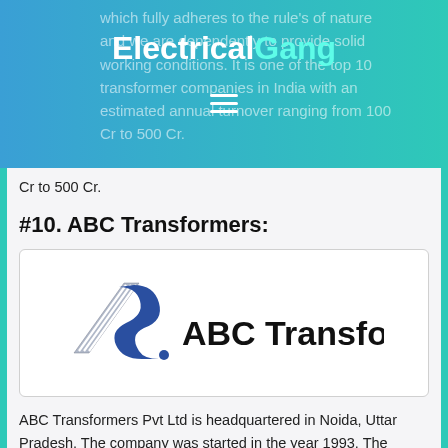ElectricalGang
which fully adheres to the rule's of nature and we are dependently to provide solid working conditions. It is one of the top 10 transformer companies in India with an estimated annual turnover ranging from 100 Cr to 500 Cr.
#10. ABC Transformers:
[Figure (logo): ABC Transformers company logo: stylized 'A' and 'S' letters in blue/grey with hatching on the left, followed by bold text 'ABC Transformers']
ABC Transformers Pvt Ltd is headquartered in Noida, Uttar Pradesh. The company was started in the year 1993. The company has